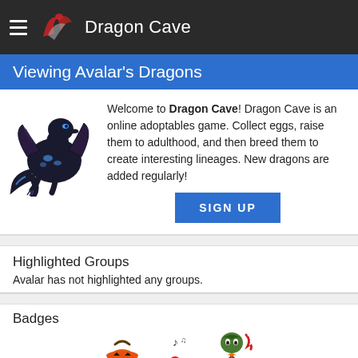Dragon Cave
Viewing Avalar's Dragons
[Figure (illustration): A dark/black fantasy dragon with blue accents, pixel art style, standing sideways]
Welcome to Dragon Cave! Dragon Cave is an online adoptables game. Collect eggs, raise them to adulthood, and then breed them to create interesting lineages. New dragons are added regularly!
SIGN UP
Highlighted Groups
Avalar has not highlighted any groups.
Badges
[Figure (illustration): Three badge icons: a Halloween pumpkin bucket, a small nest with a musical note and red berry, and a pixel art volcano/mountain scene]
See all 3 badges